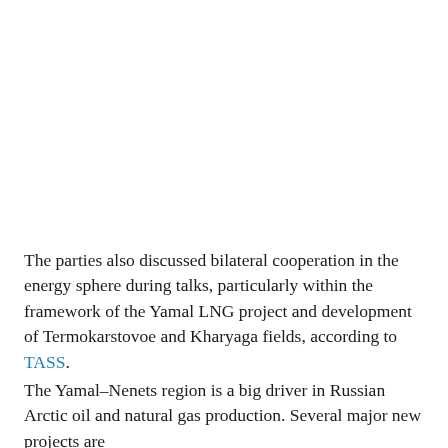The parties also discussed bilateral cooperation in the energy sphere during talks, particularly within the framework of the Yamal LNG project and development of Termokarstovoe and Kharyaga fields, according to TASS.
The Yamal-Nenets region is a big driver in Russian Arctic oil and natural gas production. Several major new projects are underway...